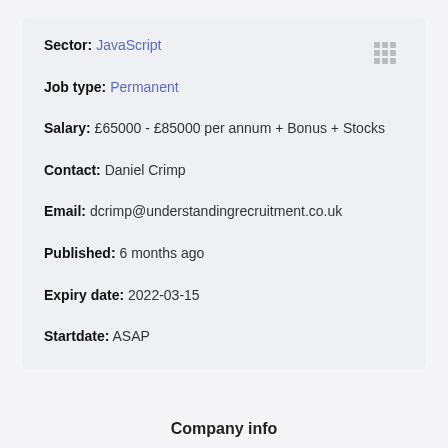Sector: JavaScript
Job type: Permanent
Salary: £65000 - £85000 per annum + Bonus + Stocks
Contact: Daniel Crimp
Email: dcrimp@understandingrecruitment.co.uk
Published: 6 months ago
Expiry date: 2022-03-15
Startdate: ASAP
Company info